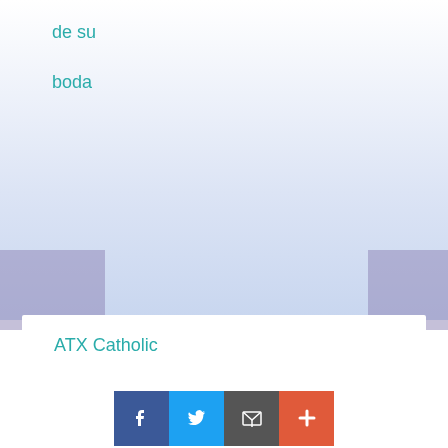de su
boda
ATX Catholic
We are dedicated to bringing the good news of Jesus Christ into the world through engaging new and social media, with particular focus on Catholics in the Diocese of Austin.
ORA PRO NOBIS
[Figure (screenshot): Row of image thumbnails: St John Paul II, Our Lady of, Ven. Fulton]
[Figure (infographic): Social media share bar with Facebook, Twitter, email, and plus buttons]